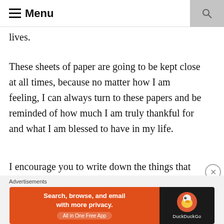Menu
lives.
These sheets of paper are going to be kept close at all times, because no matter how I am feeling, I can always turn to these papers and be reminded of how much I am truly thankful for and what I am blessed to have in my life.
I encourage you to write down the things that you're thankful for today.
[Figure (screenshot): DuckDuckGo advertisement banner: orange left panel with text 'Search, browse, and email with more privacy. All in One Free App' and dark right panel with DuckDuckGo logo and name.]